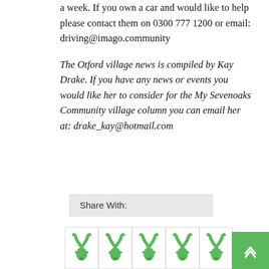a week. If you own a car and would like to help please contact them on 0300 777 1200 or email: driving@imago.community
The Otford village news is compiled by Kay Drake. If you have any news or events you would like her to consider for the My Sevenoaks Community village column you can email her at: drake_kay@hotmail.com
Share With:
[Figure (illustration): Five green deer head / antler icons in a row, each inside a bordered cell]